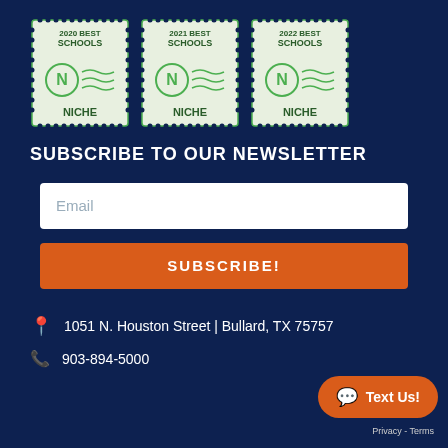[Figure (logo): Three Niche 'Best Schools' stamp badges for years 2020, 2021, and 2022, each showing a green postage-stamp design with the letter N in a circle and the word NICHE at the bottom.]
SUBSCRIBE TO OUR NEWSLETTER
Email
SUBSCRIBE!
1051 N. Houston Street | Bullard, TX 75757
903-894-5000
Text Us!
Privacy - Terms